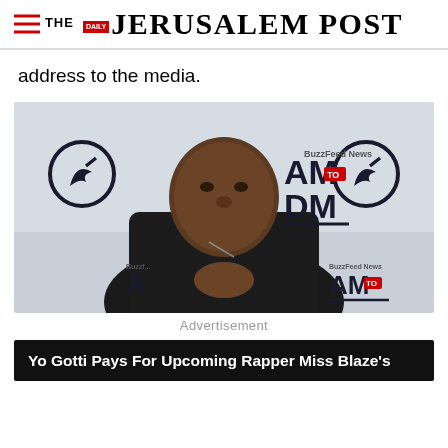THE JERUSALEM POST
address to the media.
[Figure (photo): Man in black puffer jacket with hands clasped, standing in front of a BuzzFeed News AM to DM branded backdrop]
Advertisement
Yo Gotti Pays For Upcoming Rapper Miss Blaze's